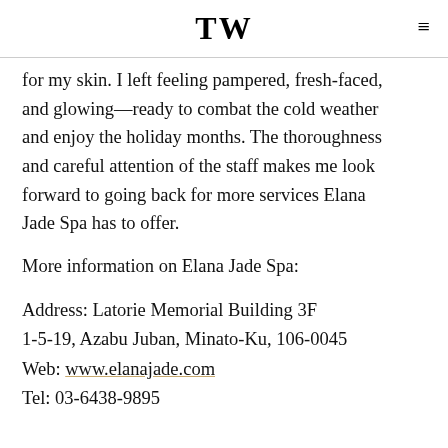TW
for my skin. I left feeling pampered, fresh-faced, and glowing—ready to combat the cold weather and enjoy the holiday months. The thoroughness and careful attention of the staff makes me look forward to going back for more services Elana Jade Spa has to offer.
More information on Elana Jade Spa:
Address: Latorie Memorial Building 3F
1-5-19, Azabu Juban, Minato-Ku, 106-0045
Web: www.elanajade.com
Tel: 03-6438-9895